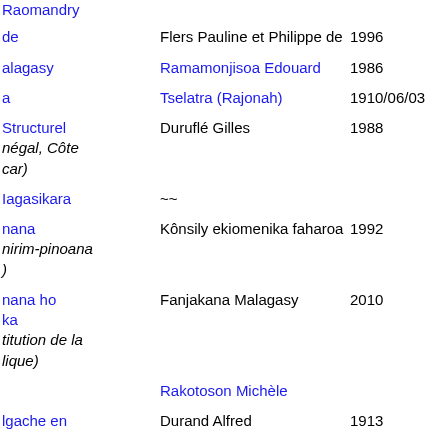| Title (col1) | Author | Year |
| --- | --- | --- |
| Raomandry |  |  |
| de | Flers Pauline et Philippe de | 1996 |
| alagasy | Ramamonjisoa Edouard | 1986 |
| a | Tselatra (Rajonah) | 1910/06/03 |
| Structurel
négal, Côte
car) | Duruflé Gilles | 1988 |
| Iagasikara | ~~ |  |
| nana
nirim-pinoana
) | Kônsily ekiomenika faharoa | 1992 |
| nana ho
ka
titution de la
lique) | Fanjakana Malagasy | 2010 |
|  | Rakotoson Michèle |  |
| lgache en | Durand Alfred | 1913 |